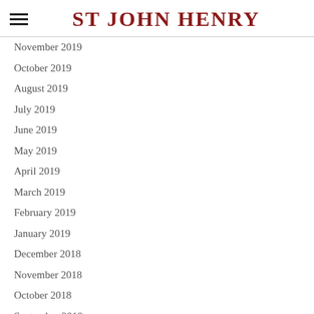ST JOHN HENRY
November 2019
October 2019
August 2019
July 2019
June 2019
May 2019
April 2019
March 2019
February 2019
January 2019
December 2018
November 2018
October 2018
September 2018
August 2018
July 2018
June 2018
May 2018